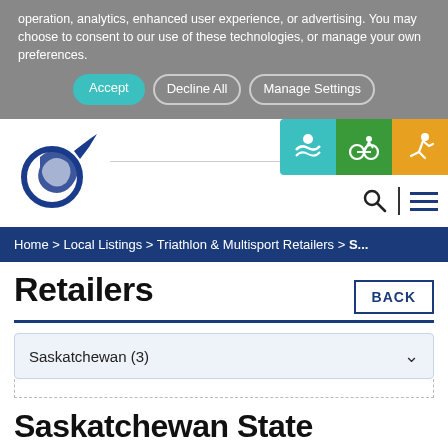operation, analytics, enhanced user experience, or advertising. You may choose to consent to our use of these technologies, or manage your own preferences.
Accept | Decline All | Manage Settings
[Figure (logo): Triathlon organization logo - blue swoosh/comet shape]
[Figure (infographic): Three sport icons: swimming (teal), cycling (green), running (orange/yellow)]
Home > Local Listings > Triathlon & Multisport Retailers > S...
Retailers
BACK
Saskatchewan (3)
Saskatchewan State